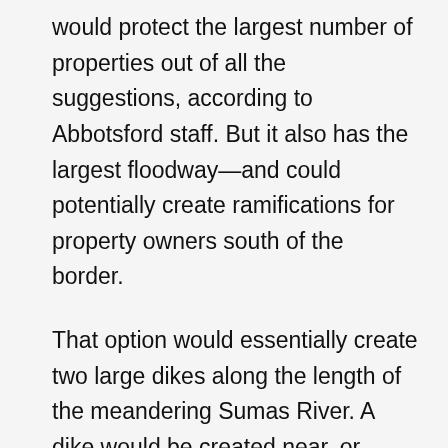would protect the largest number of properties out of all the suggestions, according to Abbotsford staff. But it also has the largest floodway—and could potentially create ramifications for property owners south of the border.
That option would essentially create two large dikes along the length of the meandering Sumas River. A dike would be created near, or along, Highway 1 northeast of the Cole Road exit. Another long dike would extend along the border